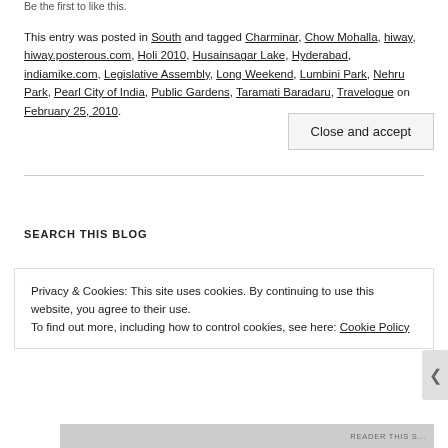Be the first to like this.
This entry was posted in South and tagged Charminar, Chow Mohalla, hiway, hiway.posterous.com, Holi 2010, Husainsagar Lake, Hyderabad, indiamike.com, Legislative Assembly, Long Weekend, Lumbini Park, Nehru Park, Pearl City of India, Public Gardens, Taramati Baradaru, Travelogue on February 25, 2010.
SEARCH THIS BLOG
Privacy & Cookies: This site uses cookies. By continuing to use this website, you agree to their use.
To find out more, including how to control cookies, see here: Cookie Policy
Close and accept